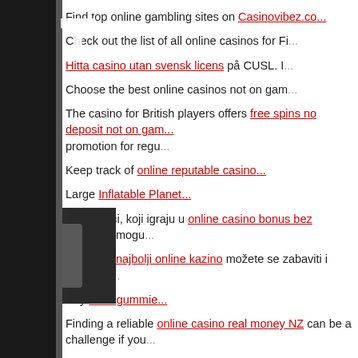Find top online gambling sites on Casinovibez.com
Check out the list of all online casinos for Fi...
Hitta casino utan svensk licens på CUSL. I...
Choose the best online casinos not on gam...
The casino for British players offers free spins no deposit not on gam... promotion for regu...
Keep track of online reputable casino...
Large Inflatable Planet...
Novi igrači, koji igraju u online casino bonus bez depozita, mogu...
Igrajući u najbolji online kazino možete se zabaviti i osvojiti p...
Buy CBD gummies...
Finding a reliable online casino real money NZ can be a challenge if you...
Visit this gambling guide and cho...